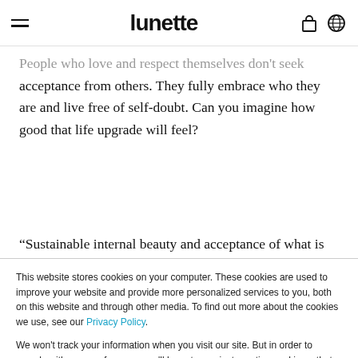lunette
People who love and respect themselves don't seek acceptance from others. They fully embrace who they are and live free of self-doubt. Can you imagine how good that life upgrade will feel?
“Sustainable internal beauty and acceptance of what is
This website stores cookies on your computer. These cookies are used to improve your website and provide more personalized services to you, both on this website and through other media. To find out more about the cookies we use, see our Privacy Policy.

We won't track your information when you visit our site. But in order to comply with your preferences, we'll have to use just one tiny cookie so that you're not asked to make this choice again.